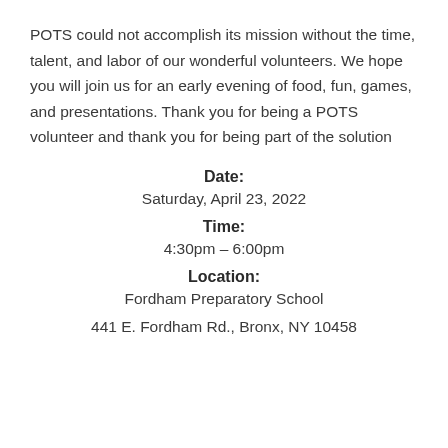POTS could not accomplish its mission without the time, talent, and labor of our wonderful volunteers. We hope you will join us for an early evening of food, fun, games, and presentations. Thank you for being a POTS volunteer and thank you for being part of the solution
Date:
Saturday, April 23, 2022
Time:
4:30pm – 6:00pm
Location:
Fordham Preparatory School
441 E. Fordham Rd., Bronx, NY 10458